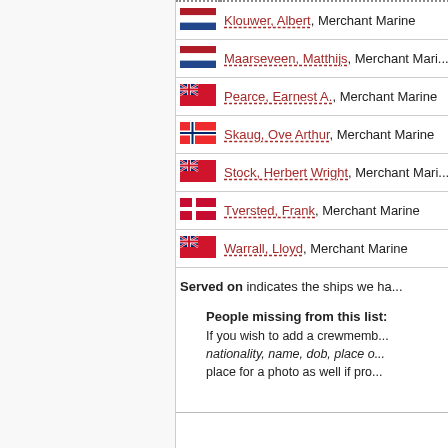Klouwer, Albert, Merchant Marine
Maarseveen, Matthijs, Merchant Marine
Pearce, Earnest A., Merchant Marine
Skaug, Ove Arthur, Merchant Marine
Stock, Herbert Wright, Merchant Marine
Tversted, Frank, Merchant Marine
Warrall, Lloyd, Merchant Marine
Served on indicates the ships we ha...
People missing from this list: If you wish to add a crewmember, nationality, name, dob, place o... place for a photo as well if pro...